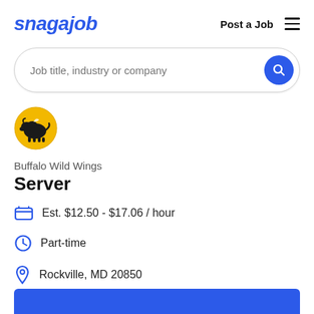snagajob   Post a Job
Job title, industry or company
[Figure (logo): Buffalo Wild Wings circular logo — yellow circle with black bison silhouette]
Buffalo Wild Wings
Server
Est. $12.50 - $17.06 / hour
Part-time
Rockville, MD 20850